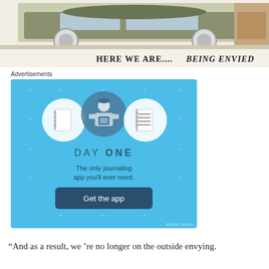[Figure (photo): Top portion of a vintage car advertisement showing a classic car parked in a driveway with text 'HERE WE ARE.....BEING ENVIED' in bold serif and italic font below.]
Advertisements
[Figure (illustration): Day One journaling app advertisement on a light blue background. Shows three circular icons (notebook, person holding phone, checklist) and text: 'DAY ONE - The only journaling app you'll ever need.' with a dark blue 'Get the app' button. Small 'REPORT THIS AD' text in bottom right.]
“And as a result, we ’re no longer on the outside envying.